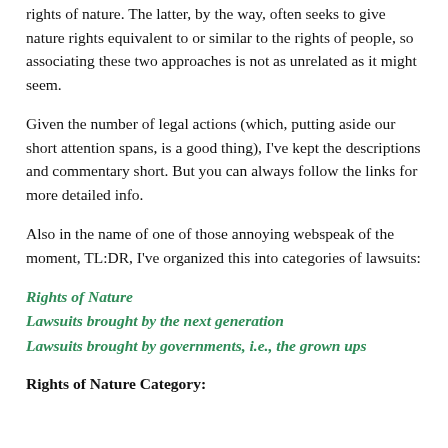rights of nature. The latter, by the way, often seeks to give nature rights equivalent to or similar to the rights of people, so associating these two approaches is not as unrelated as it might seem.
Given the number of legal actions (which, putting aside our short attention spans, is a good thing), I've kept the descriptions and commentary short. But you can always follow the links for more detailed info.
Also in the name of one of those annoying webspeak of the moment, TL:DR, I've organized this into categories of lawsuits:
Rights of Nature
Lawsuits brought by the next generation
Lawsuits brought by governments, i.e., the grown ups
Rights of Nature Category: